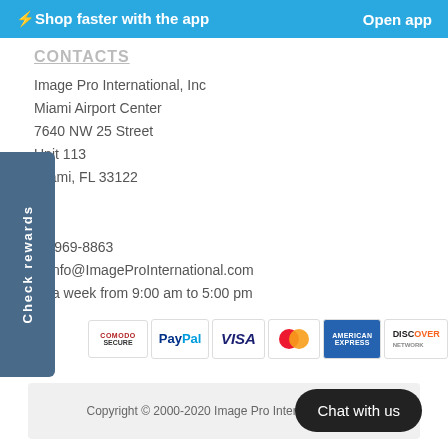⚡Shop faster with the app   Open app
CONTACTS
Image Pro International, Inc
Miami Airport Center
7640 NW 25 Street
Unit 113
Miami, FL 33122

Phone: 305-969-8863
Email: Info@ImageProInternational.com
7 days a week from 9:00 am to 5:00 pm
[Figure (logo): Payment badges: Comodo Secure, PayPal, VISA, MasterCard, American Express, Discover]
Copyright © 2000-2020 Image Pro International, Inc
Chat with us